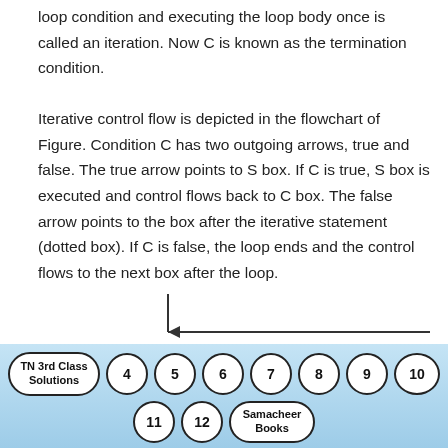loop condition and executing the loop body once is called an iteration. Now C is known as the termination condition.

Iterative control flow is depicted in the flowchart of Figure. Condition C has two outgoing arrows, true and false. The true arrow points to S box. If C is true, S box is executed and control flows back to C box. The false arrow points to the box after the iterative statement (dotted box). If C is false, the loop ends and the control flows to the next box after the loop.
[Figure (flowchart): Partial flowchart showing a vertical line with a horizontal arrow pointing left, indicating loop back flow control.]
[Figure (infographic): Navigation bar with rounded pill/circle buttons: TN 3rd Class Solutions, 4, 5, 6, 7, 8, 9, 10 in first row; 11, 12, Samacheer Books in second row.]